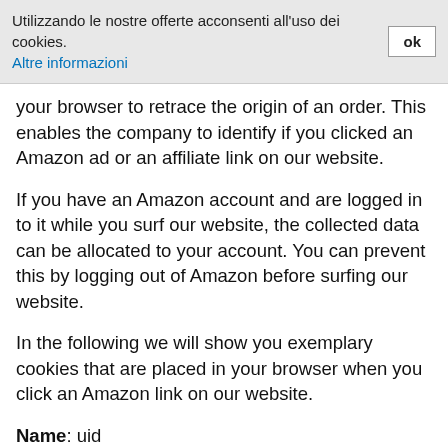Utilizzando le nostre offerte acconsenti all'uso dei cookies. Altre informazioni  ok
your browser to retrace the origin of an order. This enables the company to identify if you clicked an Amazon ad or an affiliate link on our website.
If you have an Amazon account and are logged in to it while you surf our website, the collected data can be allocated to your account. You can prevent this by logging out of Amazon before surfing our website.
In the following we will show you exemplary cookies that are placed in your browser when you click an Amazon link on our website.
Name: uid
Value: 32309280526752852151117614​79-9
Purpose: This cookie stores a unique user ID and collects information on your website activity.
Expiry date: after 2 months